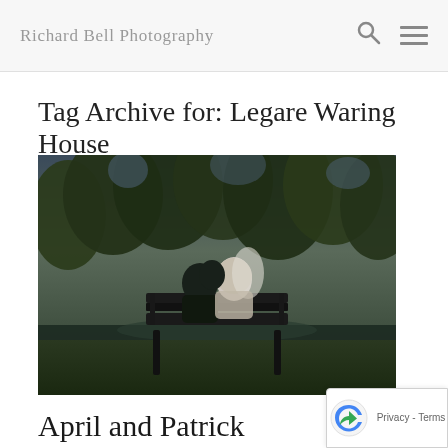Richard Bell Photography
Tag Archive for: Legare Waring House
[Figure (photo): A couple sitting on a bench by a pond, silhouetted against trees at dusk, appearing to kiss or embrace. Wedding photo in dark, moody tones.]
April and Patrick
December 7, 2015 / in Wedding / by admin
April and Patrick met through friends and their mutual for music quickly brought the two togeth…